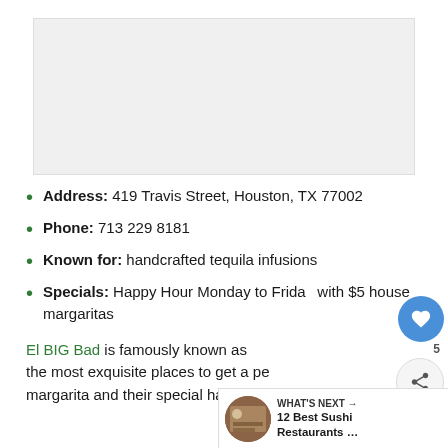[Figure (photo): Restaurant or food photo placeholder (light gray box)]
Address: 419 Travis Street, Houston, TX 77002
Phone: 713 229 8181
Known for: handcrafted tequila infusions
Specials: Happy Hour Monday to Friday with $5 house margaritas
El BIG Bad is famously known as the most exquisite places to get a perfect margarita and their special handcrafted